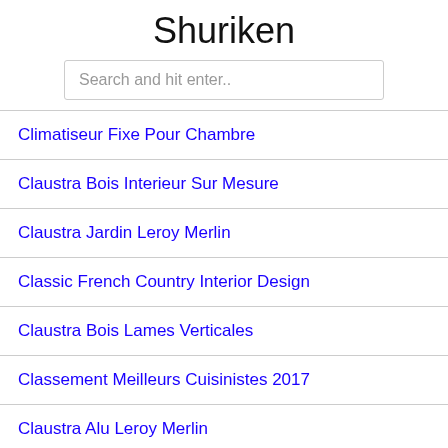Shuriken
Search and hit enter..
Climatiseur Fixe Pour Chambre
Claustra Bois Interieur Sur Mesure
Claustra Jardin Leroy Merlin
Classic French Country Interior Design
Claustra Bois Lames Verticales
Classement Meilleurs Cuisinistes 2017
Claustra Alu Leroy Merlin
Cloche De Cuisson Pour Plancha Forge Adour
Claustra Bois Interieur Design